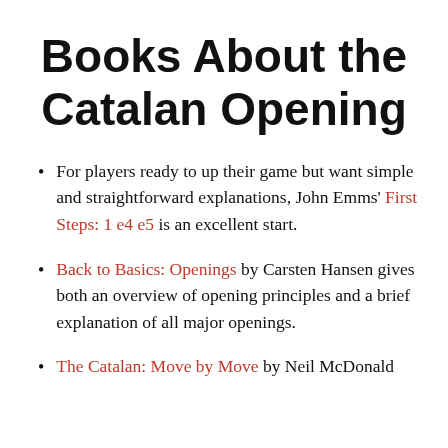Books About the Catalan Opening
For players ready to up their game but want simple and straightforward explanations, John Emms' First Steps: 1 e4 e5 is an excellent start.
Back to Basics: Openings by Carsten Hansen gives both an overview of opening principles and a brief explanation of all major openings.
The Catalan: Move by Move by Neil McDonald